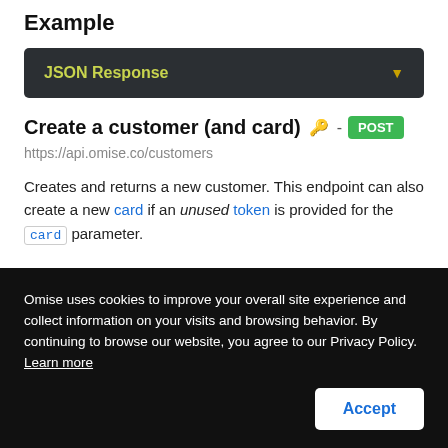Example
[Figure (screenshot): JSON Response collapsible bar with dark background and yellow-green label text and a dropdown arrow]
Create a customer (and card) 🔑 - POST
https://api.omise.co/customers
Creates and returns a new customer. This endpoint can also create a new card if an unused token is provided for the card parameter.
Omise uses cookies to improve your overall site experience and collect information on your visits and browsing behavior. By continuing to browse our website, you agree to our Privacy Policy. Learn more